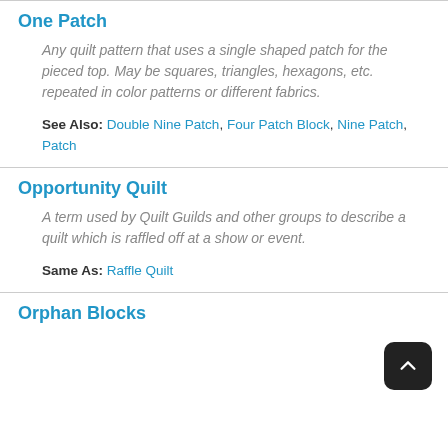One Patch
Any quilt pattern that uses a single shaped patch for the pieced top. May be squares, triangles, hexagons, etc. repeated in color patterns or different fabrics.
See Also: Double Nine Patch, Four Patch Block, Nine Patch, Patch
Opportunity Quilt
A term used by Quilt Guilds and other groups to describe a quilt which is raffled off at a show or event.
Same As: Raffle Quilt
Orphan Blocks